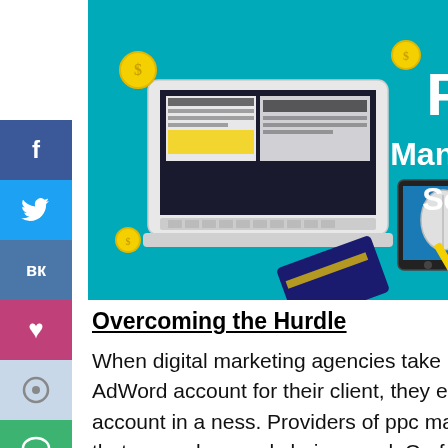[Figure (illustration): PPC Management Services hero banner image showing a laptop with marketing icons on a teal background with the text 'PPC Management Services']
Overcoming the Hurdle
When digital marketing agencies take up the task of managing the AdWord account for their client, they either find that the existing account in a ness. Providers of ppc management services may find that wrong keywords being used. Or, focus being placed on a keyword with high
System of Ilobby is important
6 Pricing Tips for Digital Agencies Adding PPC as A Revenue Stream
[Figure (illustration): Digital printing advertisement image]